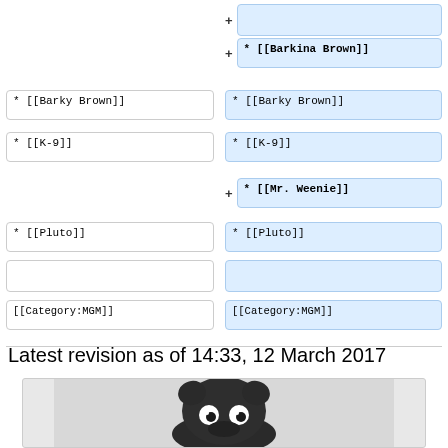[Figure (screenshot): Wiki diff view showing two columns of wikitext. Left column (old): Barky Brown, K-9, Pluto, empty box, Category:MGM. Right column (new): empty added box, Barkina Brown (added/highlighted), Barky Brown, K-9, Mr. Weenie (added/highlighted), Pluto, empty box, Category:MGM. Plus signs indicate additions.]
Latest revision as of 14:33, 12 March 2017
[Figure (photo): Photo of a dark bronze/black ceramic or metal figurine of a cartoon dog character with large white googly eyes, rounded ears, and a compact squat body, photographed against a light gray background.]